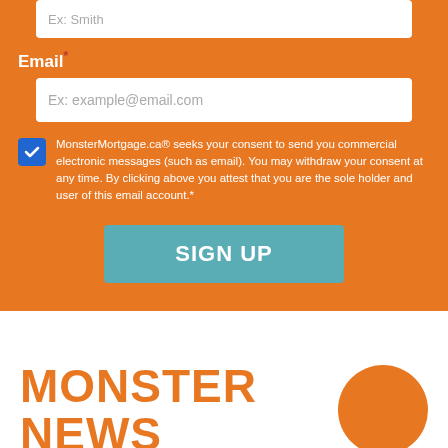Ex: Smith
Email*
Ex: example@email.com
MonsterMortgage.ca® seeks your consent to send you commercial electronic messages (such as email). You may withdraw your consent at any time. By clicking above you attest that you are the sole holder and user of this email account.*
SIGN UP
MONSTER NEWS
(416) 480 0234  Apply Now